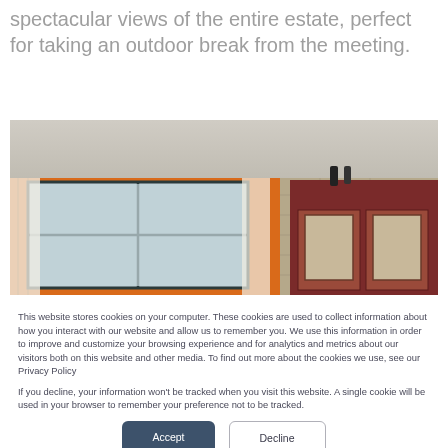spectacular views of the entire estate, perfect for taking an outdoor break from the meeting.
[Figure (photo): Interior room photo showing an orange-walled room with large windows, sheer curtains, a stone wall on the right, and a dark red wooden cabinet with framed pictures.]
This website stores cookies on your computer. These cookies are used to collect information about how you interact with our website and allow us to remember you. We use this information in order to improve and customize your browsing experience and for analytics and metrics about our visitors both on this website and other media. To find out more about the cookies we use, see our Privacy Policy

If you decline, your information won't be tracked when you visit this website. A single cookie will be used in your browser to remember your preference not to be tracked.
Accept
Decline